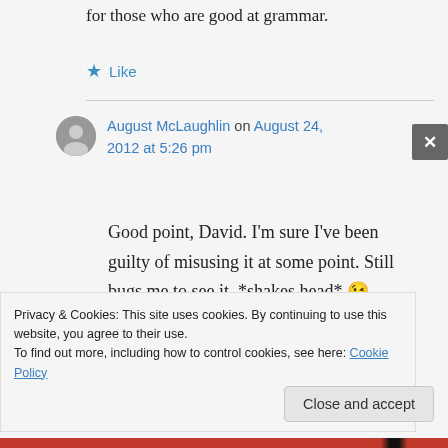for those who are good at grammar.
Like
August McLaughlin on August 24, 2012 at 5:26 pm
Good point, David. I'm sure I've been guilty of misusing it at some point. Still bugs me to see it. *shakes head* 😉
Privacy & Cookies: This site uses cookies. By continuing to use this website, you agree to their use.
To find out more, including how to control cookies, see here: Cookie Policy
Close and accept